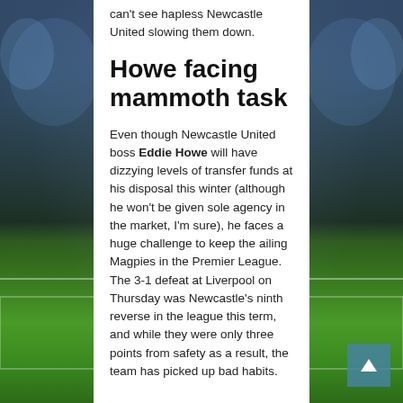[Figure (photo): Football stadium background with floodlights and green pitch with white markings]
can't see hapless Newcastle United slowing them down.
Howe facing mammoth task
Even though Newcastle United boss Eddie Howe will have dizzying levels of transfer funds at his disposal this winter (although he won't be given sole agency in the market, I'm sure), he faces a huge challenge to keep the ailing Magpies in the Premier League. The 3-1 defeat at Liverpool on Thursday was Newcastle's ninth reverse in the league this term, and while they were only three points from safety as a result, the team has picked up bad habits.